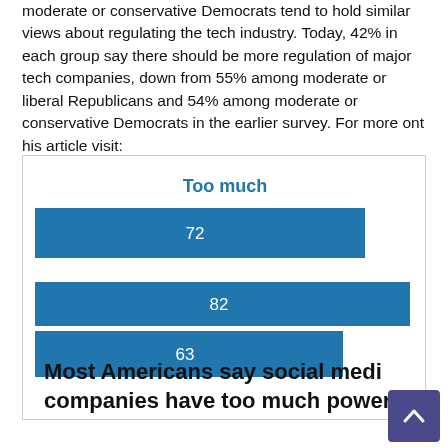moderate or conservative Democrats tend to hold similar views about regulating the tech industry. Today, 42% in each group say there should be more regulation of major tech companies, down from 55% among moderate or liberal Republicans and 54% among moderate or conservative Democrats in the earlier survey. For more ont his article visit:
[Figure (bar-chart): Too much]
Most Americans say social media companies have too much power,